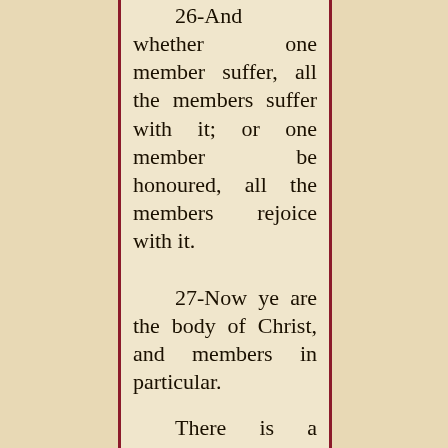26-And whether one member suffer, all the members suffer with it; or one member be honoured, all the members rejoice with it. 27-Now ye are the body of Christ, and members in particular.
There is a message here for the body of Christ that many today do not seem to understand